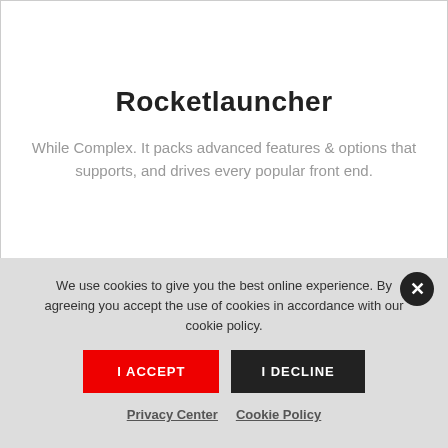Rocketlauncher
While Complex. It packs advanced features & options that supports, and drives every popular front end.
We use cookies to give you the best online experience. By agreeing you accept the use of cookies in accordance with our cookie policy.
I ACCEPT
I DECLINE
Privacy Center   Cookie Policy